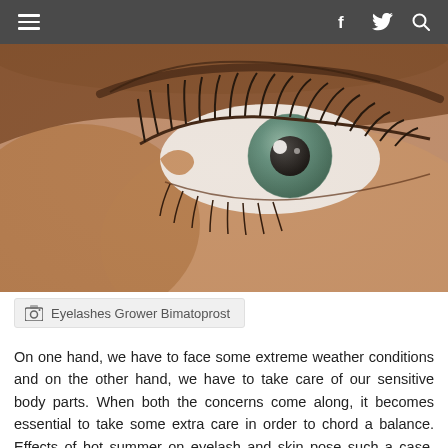☰  f  🐦  🔍
[Figure (photo): Close-up photograph of a human eye with long eyelashes and green iris, taken from above showing eyelid and skin detail.]
Eyelashes Grower Bimatoprost
On one hand, we have to face some extreme weather conditions and on the other hand, we have to take care of our sensitive body parts. When both the concerns come along, it becomes essential to take some extra care in order to chord a balance. Effects of hot summer on eyelash and skin pose such a case. The eyelash care in summer season is the talk of the day, and those who are using eyelash extenders should know what eye make-up products they have to mull over.